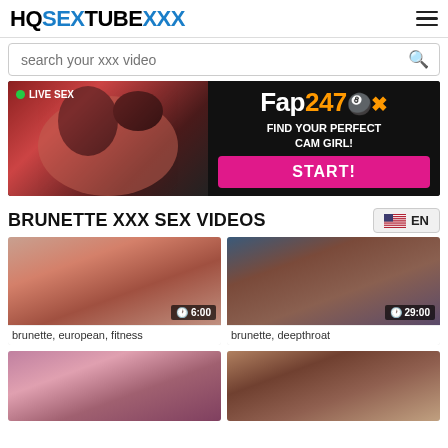HQSEXTUBEXXX
search your xxx video
[Figure (photo): Advertisement banner for Fap247 live sex cam site with text: LIVE SEX, Fap247, FIND YOUR PERFECT CAM GIRL!, START!]
BRUNETTE XXX SEX VIDEOS
EN
[Figure (photo): Video thumbnail duration 6:00]
brunette, european, fitness
[Figure (photo): Video thumbnail duration 29:00]
brunette, deepthroat
[Figure (photo): Video thumbnail partial view at bottom]
[Figure (photo): Video thumbnail partial view at bottom]